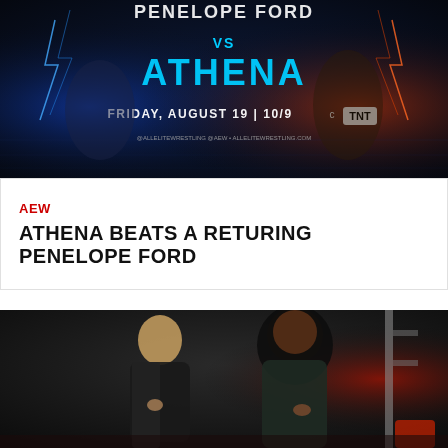[Figure (photo): AEW promotional image for Penelope Ford vs Athena on TNT, Friday August 19 10/9c, with both wrestlers in fighting poses against a dark background with lightning effects]
AEW
ATHENA BEATS A RETURING PENELOPE FORD
[Figure (photo): Photo of two women wrestlers (likely Athena and Penelope Ford) posing backstage, both wearing black outfits, one with blonde hair and one with dark hair]